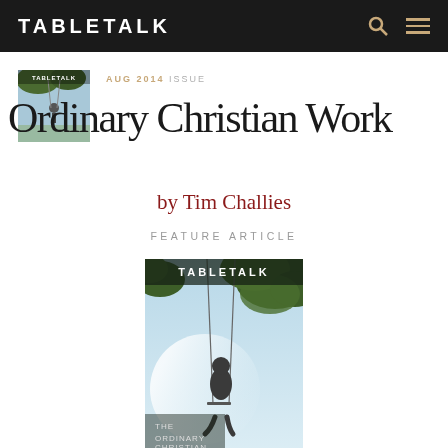TABLETALK
AUG 2014 ISSUE
Ordinary Christian Work
by Tim Challies
FEATURE ARTICLE
[Figure (illustration): Tabletalk magazine cover for August 2014 issue featuring a person sitting on a swing with tree branches visible against a blue sky, titled 'The Ordinary Christian Life']
AUGUST 2014
VIEW ISSUE